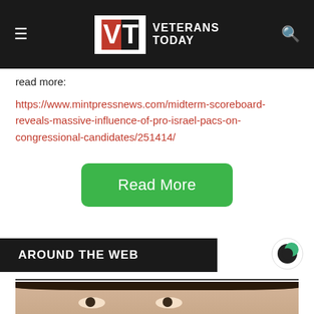Veterans Today
read more:
https://www.mintpressnews.com/midterm-scoreboard-reveals-massive-influence-of-pro-israel-pacs-on-congressional-candidates/251414/
Read More
AROUND THE WEB
[Figure (photo): Close-up photo of a person's face (woman) showing eyes and hair from the top of the frame.]